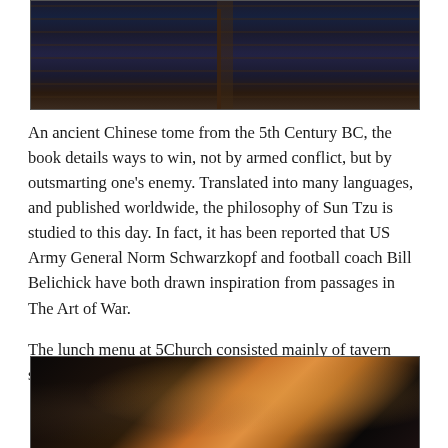[Figure (photo): Interior ceiling of 5Church restaurant showing text-covered ceiling with structural beams in dark lighting]
An ancient Chinese tome from the 5th Century BC, the book details ways to win, not by armed conflict, but by outsmarting one's enemy. Translated into many languages, and published worldwide, the philosophy of Sun Tzu is studied to this day. In fact, it has been reported that US Army General Norm Schwarzkopf and football coach Bill Belichick have both drawn inspiration from passages in The Art of War.
The lunch menu at 5Church consisted mainly of tavern style food...
[Figure (photo): Food photo showing a burger or sandwich with a golden brown bun, with drinks and other items visible in dark restaurant setting]